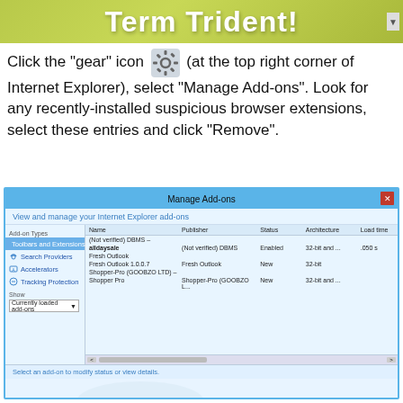[Figure (screenshot): Term Trident banner header with olive/yellow-green background and white bold text]
Click the "gear" icon (at the top right corner of Internet Explorer), select "Manage Add-ons". Look for any recently-installed suspicious browser extensions, select these entries and click "Remove".
[Figure (screenshot): Internet Explorer Manage Add-ons dialog showing Toolbars and Extensions with entries: alldaysale (Not verified DBMS, Enabled, 32-bit and .., .050s), Fresh Outlook 1.0.0.7 (Fresh Outlook, New, 32-bit), Shopper Pro (Shopper-Pro GOOBZO LTD, New, 32-bit and ...)]